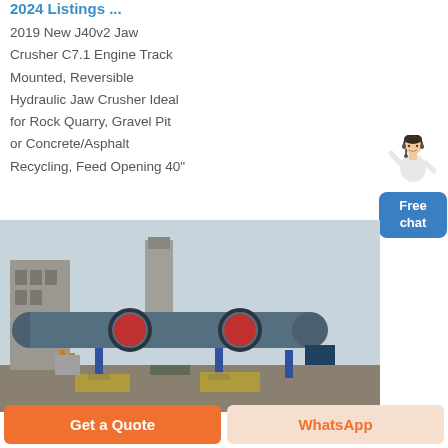2024 Listings ...
2019 New J40v2 Jaw Crusher C7.1 Engine Track Mounted, Reversible Hydraulic Jaw Crusher Ideal for Rock Quarry, Gravel Pit or Concrete/Asphalt Recycling, Feed Opening 40"
[Figure (photo): Industrial rotary drum/kiln machinery on a construction site, showing large cylindrical drums mounted on blue steel frames with support structures and buildings in the background]
Get a Quote
WhatsApp